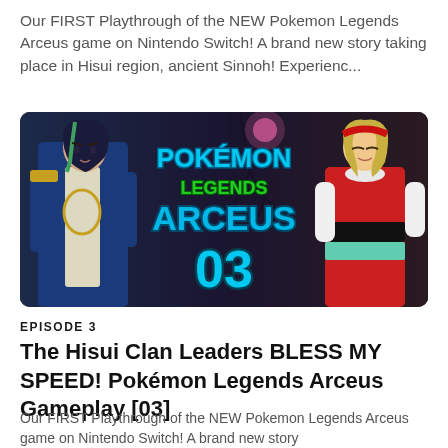Our FIRST Playthrough of the NEW Pokemon Legends Arceus game on Nintendo Switch! A brand new story taking place in Hisui region, ancient Sinnoh! Experienc...
[Figure (screenshot): Pokemon Legends Arceus Episode 03 game thumbnail showing two characters and the game logo]
EPISODE 3
The Hisui Clan Leaders BLESS MY SPEED! Pokémon Legends Arceus Gameplay [03]
Our FIRST Playthrough of the NEW Pokemon Legends Arceus game on Nintendo Switch! A brand new story